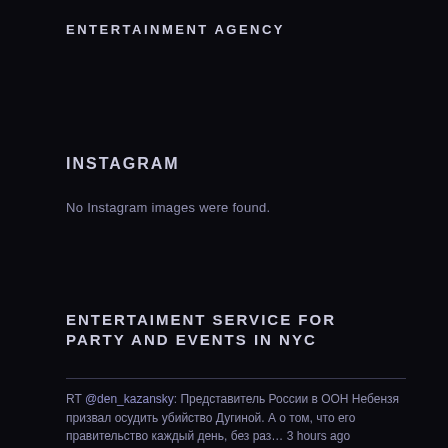ENTERTAINMENT AGENCY
INSTAGRAM
No Instagram images were found.
ENTERTAIMENT SERVICE FOR PARTY AND EVENTS IN NYC
RT @den_kazansky: Представитель России в ООН Небензя призвал осудить убийство Дугиной. А о том, что его правительство каждый день, без раз… 3 hours ago